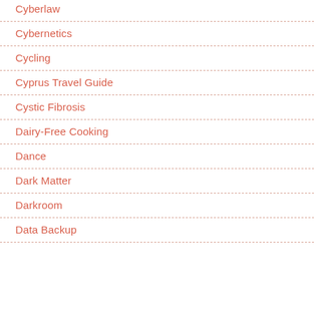Cyberlaw
Cybernetics
Cycling
Cyprus Travel Guide
Cystic Fibrosis
Dairy-Free Cooking
Dance
Dark Matter
Darkroom
Data Backup